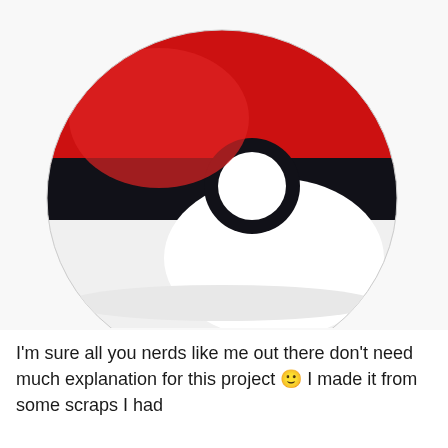[Figure (photo): A plush Pokéball pillow/cushion photographed on a white background. The spherical stuffed pillow features the classic Pokéball design: white lower half, red upper half, separated by a thick black horizontal band with a white circle button in the center.]
I'm sure all you nerds like me out there don't need much explanation for this project 🙂 I made it from some scraps I had